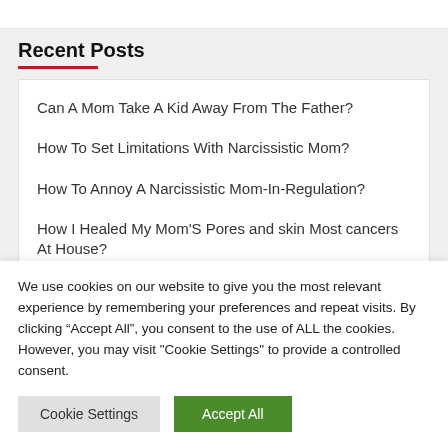Recent Posts
Can A Mom Take A Kid Away From The Father?
How To Set Limitations With Narcissistic Mom?
How To Annoy A Narcissistic Mom-In-Regulation?
How I Healed My Mom'S Pores and skin Most cancers At House?
We use cookies on our website to give you the most relevant experience by remembering your preferences and repeat visits. By clicking “Accept All”, you consent to the use of ALL the cookies. However, you may visit "Cookie Settings" to provide a controlled consent.